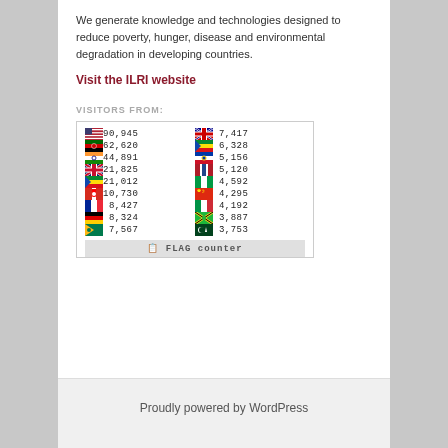We generate knowledge and technologies designed to reduce poverty, hunger, disease and environmental degradation in developing countries.
Visit the ILRI website
VISITORS FROM:
[Figure (table-as-image): Flag counter widget showing visitor counts by country: US 90,945 | AU 7,417 | KE 62,620 | ET(?) 6,328 | IN 44,891 | PH 5,156 | GB 21,825 | NL 5,120 | ET 21,012 | NG 4,592 | CA 10,730 | CN 4,295 | FR 8,427 | IT 4,192 | DE 8,324 | TZ 3,887 | ZA 7,567 | PK 3,753]
Proudly powered by WordPress